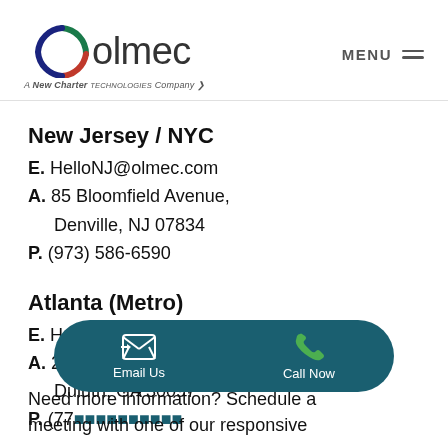olmec – A New Charter Technologies Company | MENU
New Jersey / NYC
E. HelloNJ@olmec.com
A. 85 Bloomfield Avenue, Denville, NJ 07834
P. (973) 586-6590
Atlanta (Metro)
E. HelloGA@olmec.com
A. 2250 Satellite Blvd, Suite 100, Duluth, GA 30097
P. (770)…
[Figure (infographic): Dark teal rounded pill overlay bar with two buttons: 'Email Us' (envelope icon) and 'Call Now' (phone icon) in white text on dark teal background]
Need more information? Schedule a meeting with one of our responsive